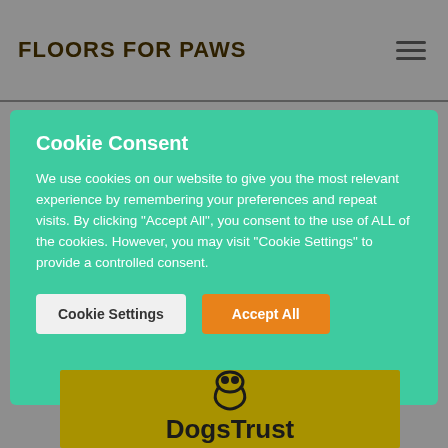FLOORS FOR PAWS
Cookie Consent
We use cookies on our website to give you the most relevant experience by remembering your preferences and repeat visits. By clicking "Accept All", you consent to the use of ALL of the cookies. However, you may visit "Cookie Settings" to provide a controlled consent.
Cookie Settings | Accept All
[Figure (logo): Dogs Trust logo on golden/olive background with dog paw/circle graphic above the text 'DogsTrust']